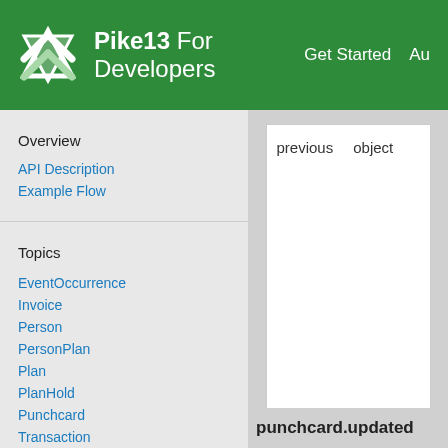Pike13 For Developers    Get Started    Au
Overview
API Description
Example Flow
Topics
EventOccurrence
Invoice
Person
PersonPlan
Plan
PlanHold
Punchcard
Transaction
Visit
previous    object
punchcard.updated